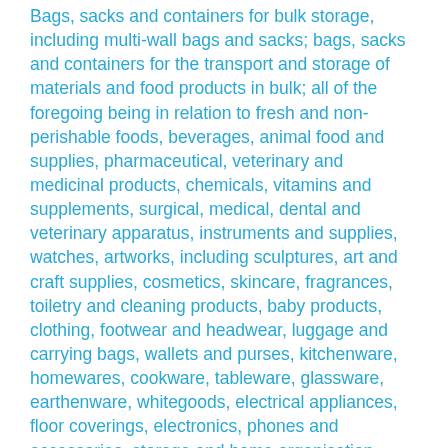Bags, sacks and containers for bulk storage, including multi-wall bags and sacks; bags, sacks and containers for the transport and storage of materials and food products in bulk; all of the foregoing being in relation to fresh and non-perishable foods, beverages, animal food and supplies, pharmaceutical, veterinary and medicinal products, chemicals, vitamins and supplements, surgical, medical, dental and veterinary apparatus, instruments and supplies, watches, artworks, including sculptures, art and craft supplies, cosmetics, skincare, fragrances, toiletry and cleaning products, baby products, clothing, footwear and headwear, luggage and carrying bags, wallets and purses, kitchenware, homewares, cookware, tableware, glassware, earthenware, whitegoods, electrical appliances, floor coverings, electronics, phones and accessories, storage and home organisation products, home entertainment, textile and textile goods, soft furnishings, yarns and threads, haberdashery, furniture, building, construction and hardware materials and equipment, tools, plumbing